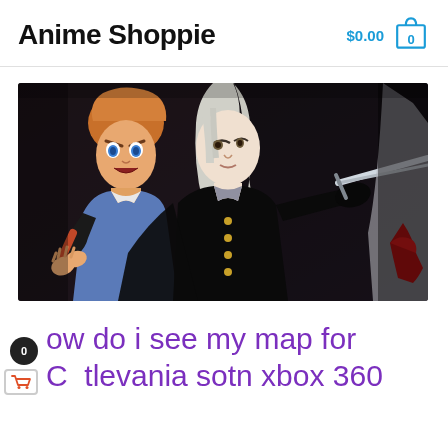Anime Shoppie   $0.00  0
[Figure (illustration): Anime-style illustration showing two characters: on the left, a male character with orange/auburn hair styled up, blue eyes, wearing a blue and white vest with black arm wrappings, with an angry/surprised expression. In the center-right, a tall male character with long silver/white hair, wearing a black coat with gold military-style buttons, holding a sword in an outstretched arm. Partial view of a third character on the far right. Dark, dramatic background.]
how do i see my map for Castlevania sotn xbox 360